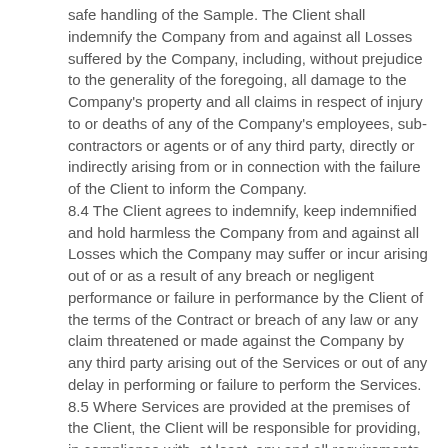safe handling of the Sample. The Client shall indemnify the Company from and against all Losses suffered by the Company, including, without prejudice to the generality of the foregoing, all damage to the Company's property and all claims in respect of injury to or deaths of any of the Company's employees, sub-contractors or agents or of any third party, directly or indirectly arising from or in connection with the failure of the Client to inform the Company.
8.4 The Client agrees to indemnify, keep indemnified and hold harmless the Company from and against all Losses which the Company may suffer or incur arising out of or as a result of any breach or negligent performance or failure in performance by the Client of the terms of the Contract or breach of any law or any claim threatened or made against the Company by any third party arising out of the Services or out of any delay in performing or failure to perform the Services.
8.5 Where Services are provided at the premises of the Client, the Client will be responsible for providing, in compliance with, at least, any and all requirements provided under the Law, a safe system of work for the Company and its employees while providing the Service and the Client shall be responsible for all costs necessarily required in discharging this obligation and shall indemnify the Company, its employees, sub-contractors and agents in respect of